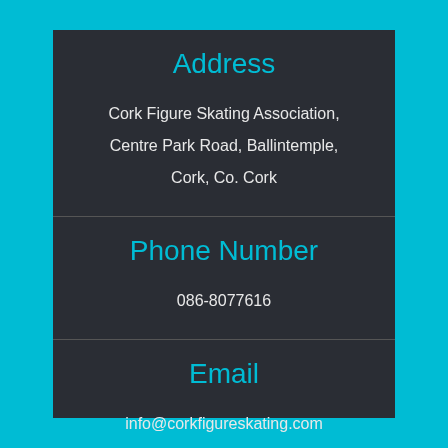Address
Cork Figure Skating Association,
Centre Park Road, Ballintemple,
Cork, Co. Cork
Phone Number
086-8077616
Email
info@corkfigureskating.com